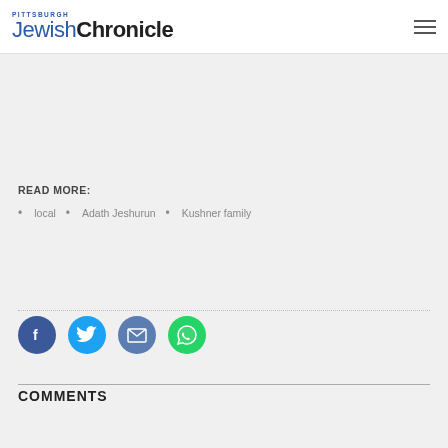Pittsburgh Jewish Chronicle
READ MORE:
local
Adath Jeshurun
Kushner family
[Figure (infographic): Social share buttons: Facebook (blue circle with f), Twitter (light blue circle with bird), Email (blue circle with envelope), WhatsApp (green circle with phone handset)]
COMMENTS